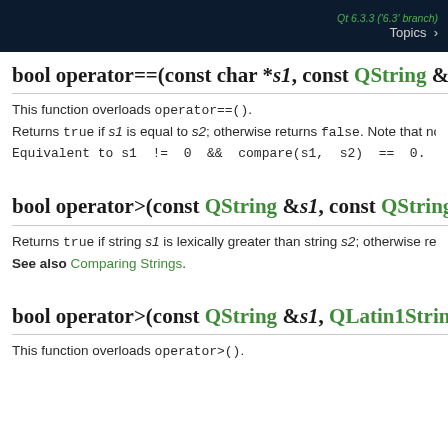Qt 6.3.3 ('6.3' branch) Topics >
bool operator==(const char *s1, const QString &s2)
This function overloads operator==().
Returns true if s1 is equal to s2; otherwise returns false. Note that no
Equivalent to s1 != 0 && compare(s1, s2) == 0.
bool operator>(const QString &s1, const QString &s
Returns true if string s1 is lexically greater than string s2; otherwise ret
See also Comparing Strings.
bool operator>(const QString &s1, QLatin1String s2
This function overloads operator>().